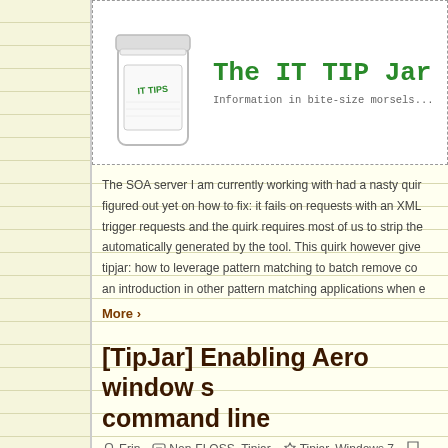[Figure (illustration): The IT TIP Jar banner with a jar illustration on the left and green monospace title text 'The IT TIP Jar' and subtitle 'Information in bite-size morsels...']
The SOA server I am currently working with had a nasty quirk I haven't figured out yet on how to fix: it fails on requests with an XML... trigger requests and the quirk requires most of us to strip the... automatically generated by the tool. This quirk however gives... tipjar: how to leverage pattern matching to batch remove co... an introduction in other pattern matching applications when d...
More ›
[TipJar] Enabling Aero window s... command line
Erin   Non-FLOSS, Tipjar   Tipjar, Windows 7
[Figure (illustration): The IT TIP Jar banner image repeated, showing the jar illustration and title text in green and gray watermark style]